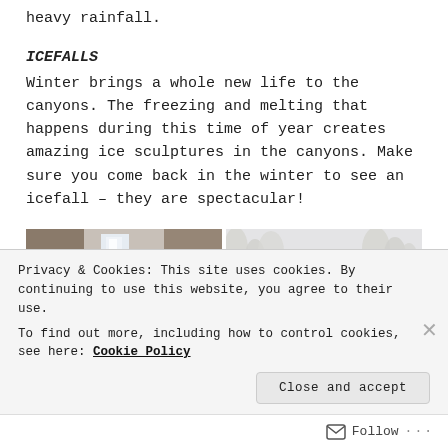heavy rainfall.
ICEFALLS
Winter brings a whole new life to the canyons. The freezing and melting that happens during this time of year creates amazing ice sculptures in the canyons. Make sure you come back in the winter to see an icefall – they are spectacular!
[Figure (photo): Two side-by-side photos: left shows a frozen icefall/waterfall in a rocky canyon with snow on the ground; right shows people walking along a snowy path through frost-covered bare trees in a wintry landscape.]
Privacy & Cookies: This site uses cookies. By continuing to use this website, you agree to their use.
To find out more, including how to control cookies, see here: Cookie Policy
Close and accept
Follow ...